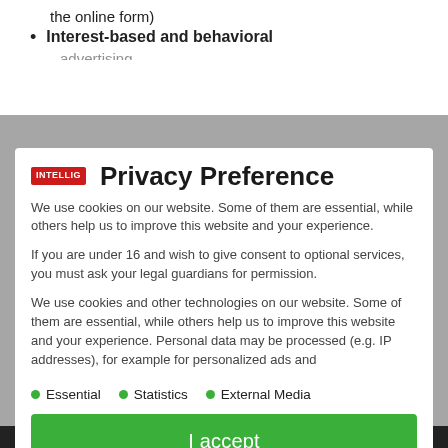the online form)
Interest-based and behavioral
[Figure (logo): INTELLIG logo in red box]
Privacy Preference
We use cookies on our website. Some of them are essential, while others help us to improve this website and your experience.
If you are under 16 and wish to give consent to optional services, you must ask your legal guardians for permission.
We use cookies and other technologies on our website. Some of them are essential, while others help us to improve this website and your experience. Personal data may be processed (e.g. IP addresses), for example for personalized ads and
Essential
Statistics
External Media
I accept